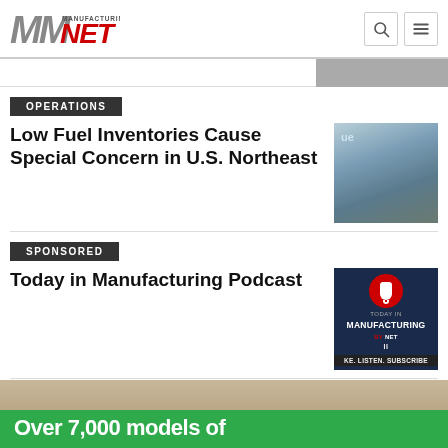[Figure (logo): Manufacturing.net logo with stylized M and red NET text]
[Figure (photo): Partial photo visible at top right of page]
OPERATIONS
Low Fuel Inventories Cause Special Concern in U.S. Northeast
[Figure (photo): Industrial fuel storage tank and equipment]
SPONSORED
Today in Manufacturing Podcast
[Figure (photo): Today in Manufacturing podcast promotional image with red microphone icon on dark background, text: TODAY IN MANUFACTURING BY NET, KE. LISTEN. SUBSCRIBE]
[Figure (photo): Bottom promo banner with text: Over 7,000 models of on green background]